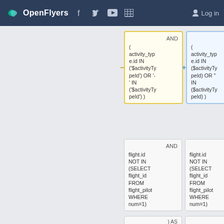OpenFlyers — Log in
[Figure (screenshot): Two side-by-side code diff boxes (yellow/red and blue) showing SQL AND clause with activity_type.id IN ('$activityTypeId') OR '-' IN ('$activityTypeId') vs '' IN ($activityTypeId)]
[Figure (screenshot): Two side-by-side code boxes (gray) showing SQL AND flight.id NOT IN (SELECT flight_id FROM flight_pilot WHERE num=1)]
[Figure (screenshot): Two partial code boxes showing ) AS at the bottom]